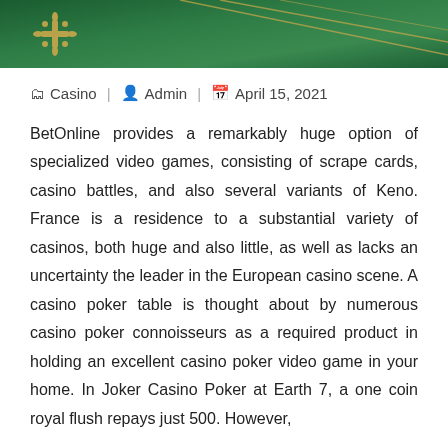[Figure (photo): Green casino table felt surface with yellow decorative lines and a gold emblem/crest in the upper left corner]
🗂 Casino  |  👤 Admin  |  📅 April 15, 2021
BetOnline provides a remarkably huge option of specialized video games, consisting of scrape cards, casino battles, and also several variants of Keno. France is a residence to a substantial variety of casinos, both huge and also little, as well as lacks an uncertainty the leader in the European casino scene. A casino poker table is thought about by numerous casino poker connoisseurs as a required product in holding an excellent casino poker video game in your home. In Joker Casino Poker at Earth 7, a one coin royal flush repays just 500. However,